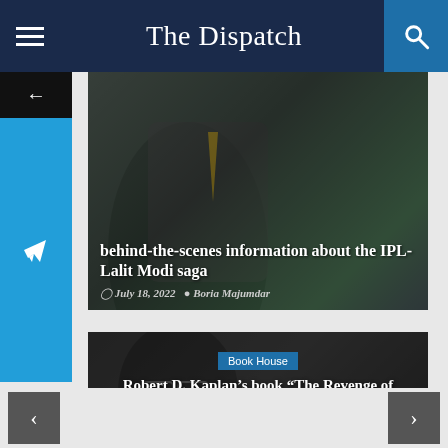The Dispatch
[Figure (screenshot): News article card with dark background showing a man in a suit. Overlay text: 'behind-the-scenes information about the IPL-Lalit Modi saga'. Date: July 18, 2022. Author: Boria Majumdar.]
behind-the-scenes information about the IPL-Lalit Modi saga
July 18, 2022  Boria Majumdar
[Figure (screenshot): News article card with dark portrait of a man wearing glasses. Badge: 'Book House'. Title: 'Robert D. Kaplan’s book “The Revenge of Geography” looks at global affairs through a geographical perspective']
Book House
Robert D. Kaplan’s book “The Revenge of Geography” looks at global affairs through a geographical perspective
< >